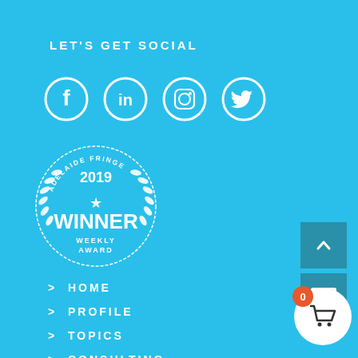LET'S GET SOCIAL
[Figure (illustration): Four white social media icon circles: Facebook, LinkedIn, Instagram, Twitter on cyan background]
[Figure (logo): 2019 Adelaide Fringe Winner Weekly Award badge/seal in white on cyan background]
> HOME
> PROFILE
> TOPICS
> CONSULTING
[Figure (illustration): Dark teal square button with white up-arrow chevron]
[Figure (illustration): Dark teal square button with white envelope icon]
[Figure (illustration): White circle cart button with orange badge showing 0]